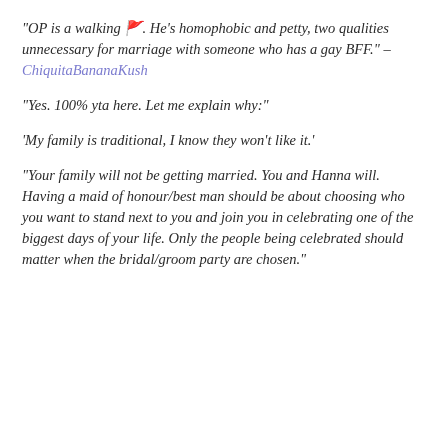“OP is a walking 🚮. He’s homophobic and petty, two qualities unnecessary for marriage with someone who has a gay BFF.” – ChiquitaBananaKush
“Yes. 100% yta here. Let me explain why:”
‘My family is traditional, I know they won’t like it.’
“Your family will not be getting married. You and Hanna will. Having a maid of honour/best man should be about choosing who you want to stand next to you and join you in celebrating one of the biggest days of your life. Only the people being celebrated should matter when the bridal/groom party are chosen.”